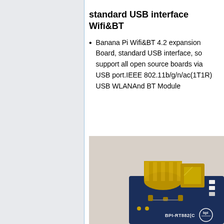standard USB interface Wifi&BT
Banana Pi Wifi&BT 4.2 expansion Board, standard USB interface, so support all open source boards via USB port.IEEE 802.11b/g/n/ac(1T1R) USB WLANAnd BT Module
[Figure (photo): Close-up photo of a Banana Pi BPI-RT8821C WiFi and Bluetooth USB expansion board with a gold SMA antenna connector mounted on a dark blue PCB. The board is labeled BPI-RT882(C) with a bpi logo.]